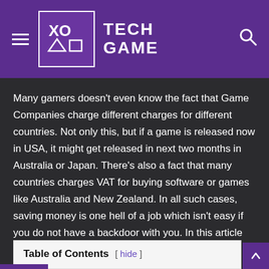XO TECH GAME
Many gamers doesn't even know the fact that Game Companies charge different charges for different countries. Not only this, but if a game is released now in USA, it might get released in next two months in Australia or Japan. There's also a fact that many countries charges VAT for buying software or games like Australia and New Zealand. In all such cases, saving money is one hell of a job which isn't easy if you do not have a backdoor with you. In this article we will define exactly same thing that how you can save money on Games with a VPN.
Table of Contents [ hide ]